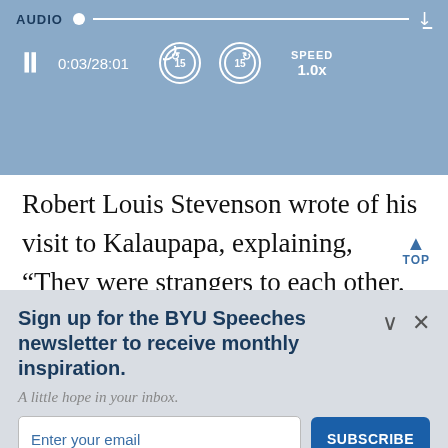[Figure (screenshot): Audio player bar with pause button, time display 0:03/28:01, rewind 15s and forward 15s buttons, speed 1.0x, and download icon]
Robert Louis Stevenson wrote of his visit to Kalaupapa, explaining, “They were strangers to each other, collected by common calamity.”²⁰ Protestant writer Ethel M. Dar noted, “Surely the isolation of suffering h…
Sign up for the BYU Speeches newsletter to receive monthly inspiration.
A little hope in your inbox.
Enter your email
SUBSCRIBE